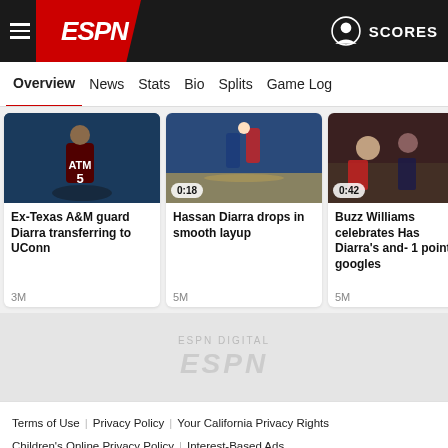ESPN — SCORES
Overview | News | Stats | Bio | Splits | Game Log
[Figure (screenshot): Basketball player wearing Texas A&M jersey number 5]
Ex-Texas A&M guard Diarra transferring to UConn
3M
[Figure (screenshot): Basketball layup action shot, duration 0:18]
Hassan Diarra drops in smooth layup
5M
[Figure (screenshot): Buzz Williams celebration scene, duration 0:42]
Buzz Williams celebrates Hassan Diarra's and-1 point googles
5M
[Figure (logo): ESPN watermark logo in gray]
Terms of Use | Privacy Policy | Your California Privacy Rights | Children's Online Privacy Policy | Interest-Based Ads | About Nielsen Measurement | Do Not Sell My Personal Information